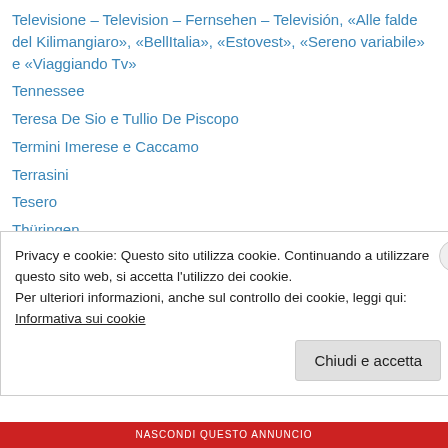Televisione – Television – Fernsehen – Televisión, «Alle falde del Kilimangiaro», «BellItalia», «Estovest», «Sereno variabile» e «Viaggiando Tv»
Tennessee
Teresa De Sio e Tullio De Piscopo
Termini Imerese e Caccamo
Terrasini
Tesero
Thüringen
The Guardian
The Observer
The Prodigy
Ticino
Privacy e cookie: Questo sito utilizza cookie. Continuando a utilizzare questo sito web, si accetta l'utilizzo dei cookie.
Per ulteriori informazioni, anche sul controllo dei cookie, leggi qui:
Informativa sui cookie
Chiudi e accetta